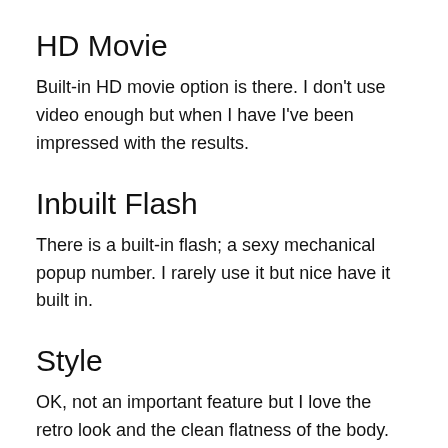HD Movie
Built-in HD movie option is there. I don't use video enough but when I have I've been impressed with the results.
Inbuilt Flash
There is a built-in flash; a sexy mechanical popup number. I rarely use it but nice have it built in.
Style
OK, not an important feature but I love the retro look and the clean flatness of the body. Actually scratch that; it is an important feature, because part of the style is how it feels in your hand. When I